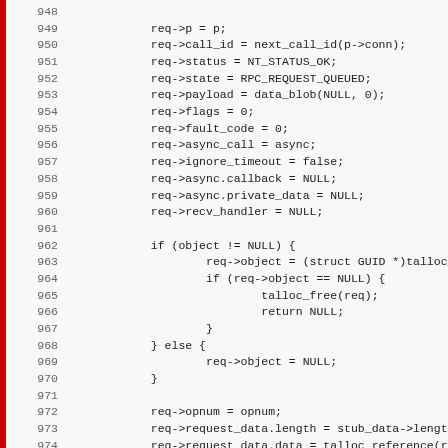Source code listing lines 948-979, C language, showing request structure initialization and conditional object handling.